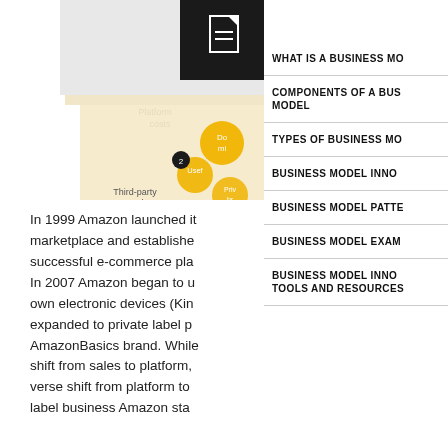[Figure (infographic): Partial e-commerce platform diagram showing layered components including 'E-commerce platform', 'Platform costs', 'Third-party vendors', with yellow circular elements partially visible, and a document icon in black square.]
In 1999 Amazon launched it marketplace and establishe successful e-commerce pla In 2007 Amazon began to u own electronic devices (Kin expanded to private label p AmazonBasics brand. While shift from sales to platform, verse shift from platform to label business Amazon sta
WHAT IS A BUSINESS MO
COMPONENTS OF A BUS MODEL
TYPES OF BUSINESS MO
BUSINESS MODEL INNO
BUSINESS MODEL PATTE
BUSINESS MODEL EXAMP
BUSINESS MODEL INNO TOOLS AND RESOURCES